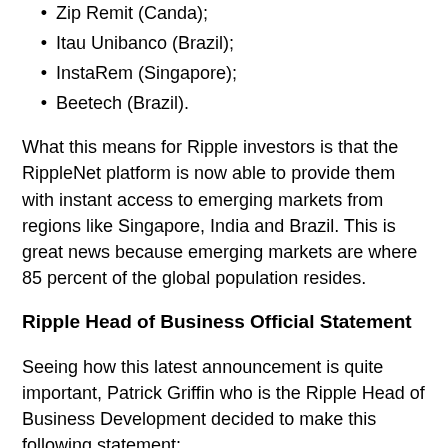Zip Remit (Canda);
Itau Unibanco (Brazil);
InstaRem (Singapore);
Beetech (Brazil).
What this means for Ripple investors is that the RippleNet platform is now able to provide them with instant access to emerging markets from regions like Singapore, India and Brazil. This is great news because emerging markets are where 85 percent of the global population resides.
Ripple Head of Business Official Statement
Seeing how this latest announcement is quite important, Patrick Griffin who is the Ripple Head of Business Development decided to make this following statement:
“The payments problem is a global problem, but its negative impact disproportionally affects emerging markets. Whether it’s